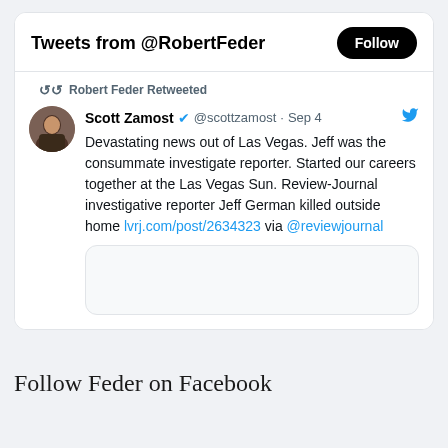[Figure (screenshot): Twitter widget showing 'Tweets from @RobertFeder' header with a Follow button, and a retweet by Robert Feder of Scott Zamost's tweet dated Sep 4 about the death of Las Vegas Review-Journal investigative reporter Jeff German.]
Robert Feder Retweeted
Scott Zamost ✓ @scottzamost · Sep 4
Devastating news out of Las Vegas. Jeff was the consummate investigate reporter. Started our careers together at the Las Vegas Sun. Review-Journal investigative reporter Jeff German killed outside home lvrj.com/post/2634323 via @reviewjournal
Follow Feder on Facebook